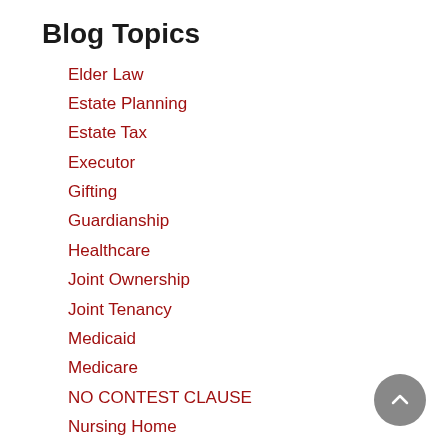Blog Topics
Elder Law
Estate Planning
Estate Tax
Executor
Gifting
Guardianship
Healthcare
Joint Ownership
Joint Tenancy
Medicaid
Medicare
NO CONTEST CLAUSE
Nursing Home
Pension
POUR OVER WILL
Power of Attorney
Probate